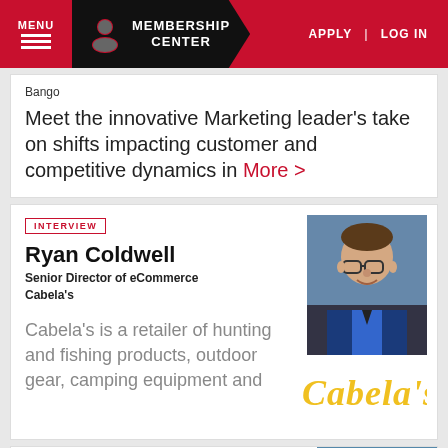MENU | MEMBERSHIP CENTER | APPLY | LOG IN
Bango
Meet the innovative Marketing leader's take on shifts impacting customer and competitive dynamics in More >
[Figure (photo): Interview badge label]
Ryan Coldwell
Senior Director of eCommerce
Cabela's
[Figure (photo): Headshot photo of Ryan Coldwell, a man with glasses wearing a blue shirt and dark blazer]
[Figure (logo): Cabela's logo in yellow cursive script]
Cabela's is a retailer of hunting and fishing products, outdoor gear, camping equipment and
[Figure (photo): Partial interview card with photo at bottom]